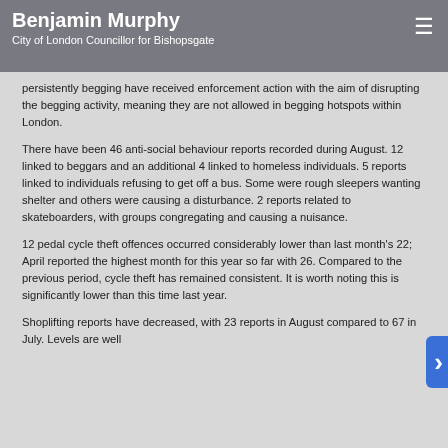Benjamin Murphy
City of London Councillor for Bishopsgate
persistently begging have received enforcement action with the aim of disrupting the begging activity, meaning they are not allowed in begging hotspots within London.
There have been 46 anti-social behaviour reports recorded during August. 12 linked to beggars and an additional 4 linked to homeless individuals. 5 reports linked to individuals refusing to get off a bus. Some were rough sleepers wanting shelter and others were causing a disturbance. 2 reports related to skateboarders, with groups congregating and causing a nuisance.
12 pedal cycle theft offences occurred considerably lower than last month's 22; April reported the highest month for this year so far with 26. Compared to the previous period, cycle theft has remained consistent. It is worth noting this is significantly lower than this time last year.
Shoplifting reports have decreased, with 23 reports in August compared to 67 in July. Levels are well